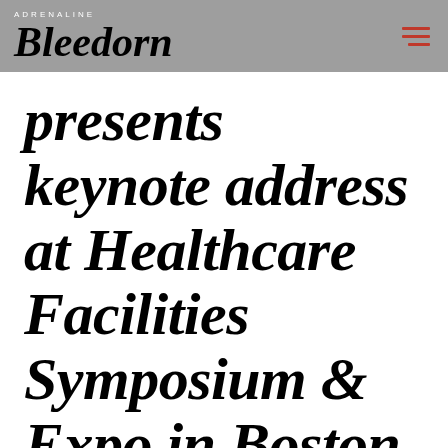ADRENALINE / Bleedorn
Bleedorn presents keynote address at Healthcare Facilities Symposium & Expo in Boston